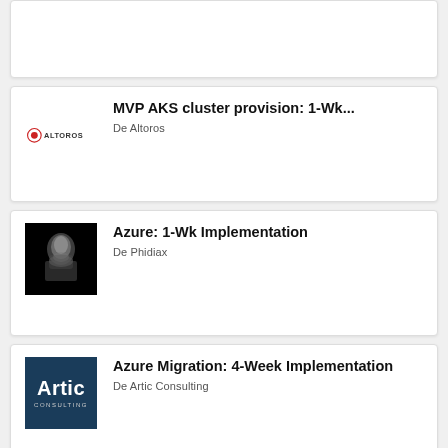[Figure (other): Partial card at top of page, content not visible]
MVP AKS cluster provision: 1-Wk...
De Altoros
Azure: 1-Wk Implementation
De Phidiax
Azure Migration: 4-Week Implementation
De Artic Consulting
Azure Rights Management: 4 Weeks...
De Communication Square LLC